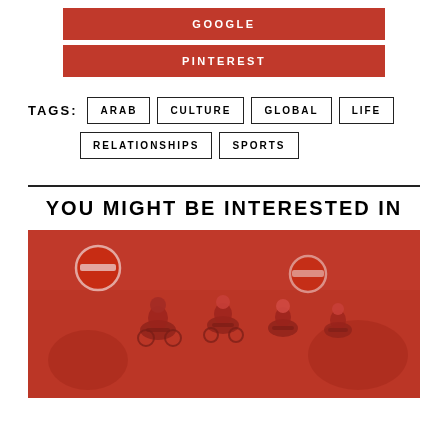GOOGLE
PINTEREST
TAGS: ARAB  CULTURE  GLOBAL  LIFE  RELATIONSHIPS  SPORTS
YOU MIGHT BE INTERESTED IN
[Figure (photo): Group of cyclists racing, with a red color overlay. Riders in helmets and cycling gear visible in a crowd race scene.]